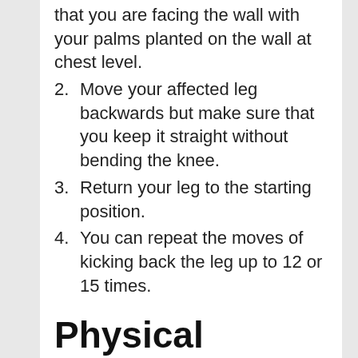that you are facing the wall with your palms planted on the wall at chest level.
2. Move your affected leg backwards but make sure that you keep it straight without bending the knee.
3. Return your leg to the starting position.
4. You can repeat the moves of kicking back the leg up to 12 or 15 times.
Physical Therapy Exercises For Hamstring Strain
Some exercises that you can do while suffering from a pulled hamstring or a